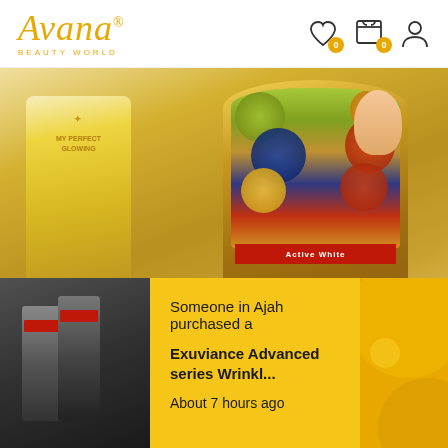Avana Beauty World
[Figure (photo): Product photo showing two beauty products: a yellow bottle on the left labeled Perfect Glowing and a golden jar on the right with fruit imagery and Active White ribbon label]
Dsm perfect glowing skin L-Glutathion + collagen
$51.30 $51.87
Add to cart
Add to Wishlist
Someone in Ajah purchased a
Exuviance Advanced series Wrinkl...
About 7 hours ago